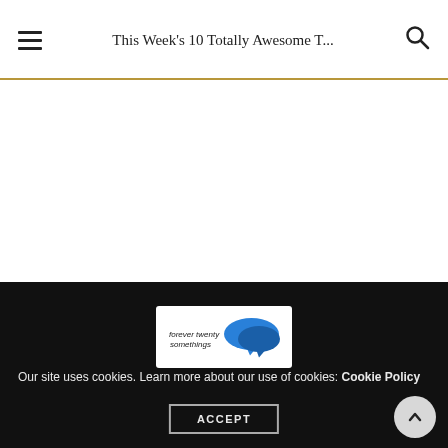This Week's 10 Totally Awesome T...
[Figure (logo): Forever Twenty Somethings blog logo with speech bubble graphic in blue]
Our site uses cookies. Learn more about our use of cookies: Cookie Policy
ACCEPT